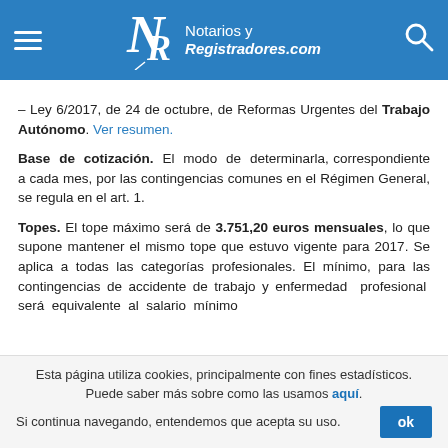Notarios y Registradores.com
– Ley 6/2017, de 24 de octubre, de Reformas Urgentes del Trabajo Autónomo. Ver resumen.
Base de cotización. El modo de determinarla, correspondiente a cada mes, por las contingencias comunes en el Régimen General, se regula en el art. 1.
Topes. El tope máximo será de 3.751,20 euros mensuales, lo que supone mantener el mismo tope que estuvo vigente para 2017. Se aplica a todas las categorías profesionales. El mínimo, para las contingencias de accidente de trabajo y enfermedad profesional será equivalente al salario mínimo
Esta página utiliza cookies, principalmente con fines estadísticos. Puede saber más sobre como las usamos aquí. Si continua navegando, entendemos que acepta su uso.